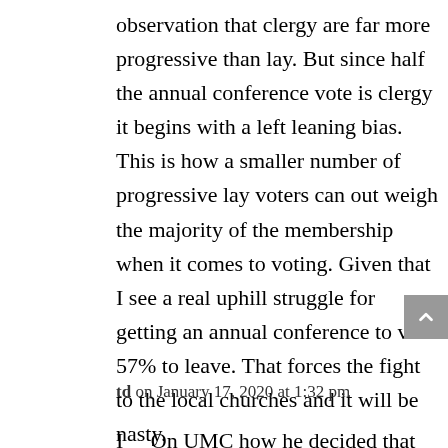observation that clergy are far more progressive than lay. But since half the annual conference vote is clergy it begins with a left leaning bias. This is how a smaller number of progressive lay voters can out weigh the majority of the membership when it comes to voting. Given that I see a real uphill struggle for getting an annual conference to vote 57% to leave. That forces the fight to the local churches and it will be nasty.
td on January 17, 2020 at 1:32 pm
I ... On UMC how he decided that